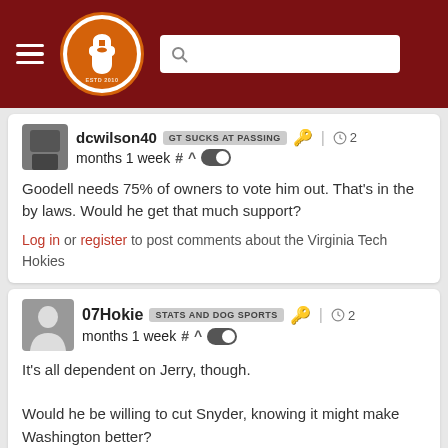[Figure (screenshot): Site header with hamburger menu, The Key Play logo (orange fist in circle), and search bar, on dark red background]
dcwilson40 GT SUCKS AT PASSING | 2 months 1 week # ^
Goodell needs 75% of owners to vote him out. That's in the by laws. Would he get that much support?
Log in or register to post comments about the Virginia Tech Hokies
07Hokie STATS AND DOG SPORTS | 2 months 1 week # ^
It's all dependent on Jerry, though.

Would he be willing to cut Snyder, knowing it might make Washington better?
Never Forget #1 Overall Seed UVA 54, #64 UMRC 74